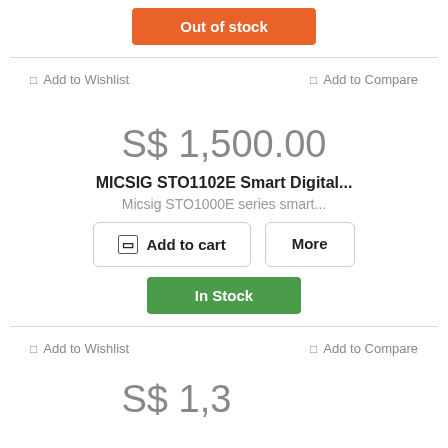Out of stock
Add to Wishlist
Add to Compare
S$ 1,500.00
MICSIG STO1102E Smart Digital...
Micsig STO1000E series smart...
Add to cart
More
In Stock
Add to Wishlist
Add to Compare